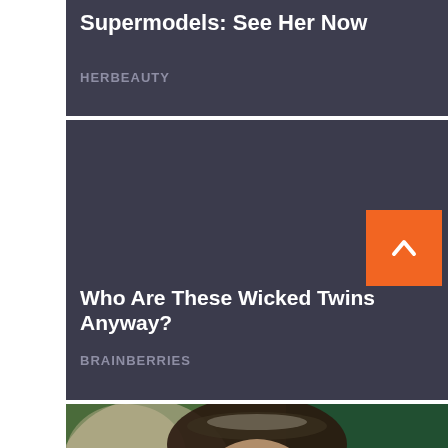Supermodels: See Her Now
HERBEAUTY
[Figure (photo): Dark gray placeholder image for article about wicked twins]
Who Are These Wicked Twins Anyway?
BRAINBERRIES
[Figure (photo): Photo of a young girl with dark hair wearing a floral crown/tiara, green blurred background]